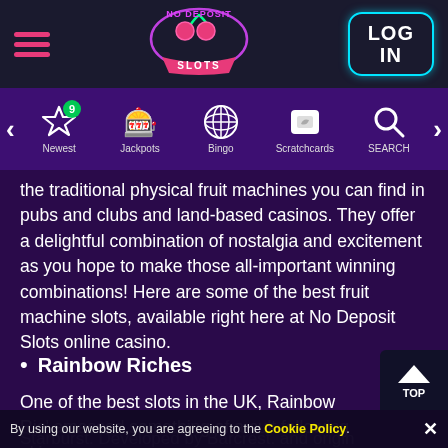[Figure (logo): No Deposit Slots neon logo with cherry graphic in center of header]
[Figure (screenshot): Navigation bar with Newest (badge 9), Jackpots, Bingo, Scratchcards, and SEARCH icons with left/right arrows]
the traditional physical fruit machines you can find in pubs and clubs and land-based casinos. They offer a delightful combination of nostalgia and excitement as you hope to make those all-important winning combinations! Here are some of the best fruit machine slots, available right here at No Deposit Slots online casino.
Rainbow Riches
One of the best slots in the UK, Rainbow Rich' amassed something of a cult following akin
Starburst. Developed by Barcrest. and origin game found in land-based casinos which th
By using our website, you are agreeing to the Cookie Policy.